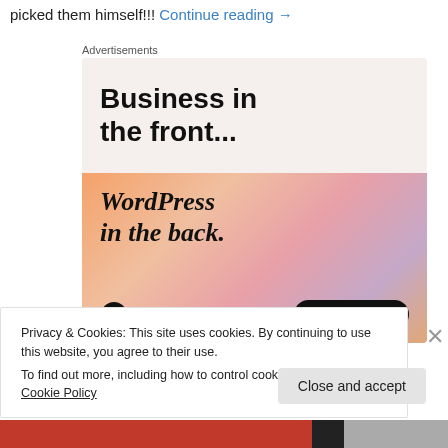picked them himself!!! Continue reading →
Advertisements
[Figure (illustration): WordPress VIP advertisement. Top half on beige/cream background shows bold text 'Business in the front...' in black. Bottom half has gradient orange-pink-purple background with serif italic text 'WordPress in the back.' with WordPress VIP logo on left and 'Learn more →' dark pill button on right.]
Privacy & Cookies: This site uses cookies. By continuing to use this website, you agree to their use.
To find out more, including how to control cookies, see here: Cookie Policy
Close and accept